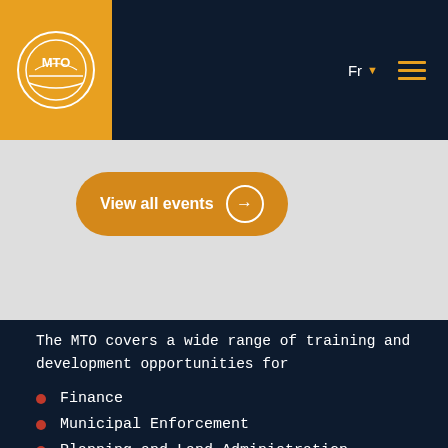[Figure (logo): MTO circular logo in white on orange background]
Fr  ☰
View all events →
The MTO covers a wide range of training and development opportunities for Municipalities across Nunavut. The list below describes some programs we currently offer.
Finance
Municipal Enforcement
Planning and Land Administration